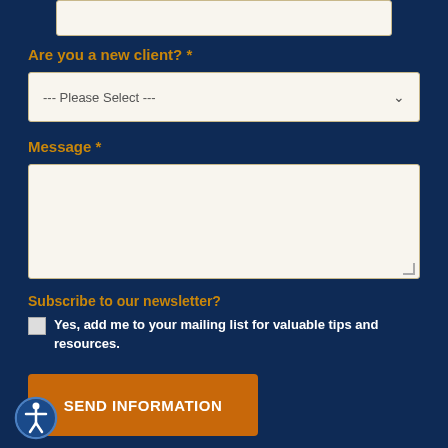[Figure (screenshot): Top input field (partially visible, cut off at top)]
Are you a new client? *
[Figure (screenshot): Dropdown select box with placeholder text '--- Please Select ---' and chevron icon]
Message *
[Figure (screenshot): Large textarea input box for message, with resize handle at bottom right]
Subscribe to our newsletter?
Yes, add me to your mailing list for valuable tips and resources.
[Figure (screenshot): Orange 'SEND INFORMATION' button]
[Figure (logo): Accessibility icon (person in circle) at bottom left]